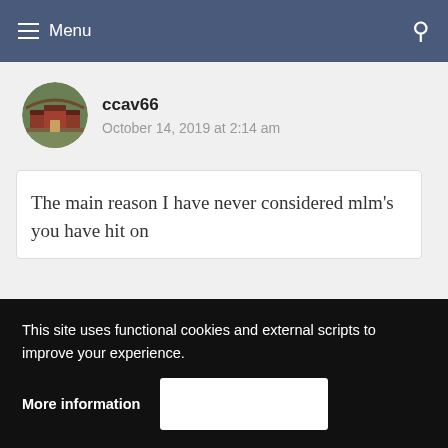Menu
ccav66
October 14, 2019 at 2:14 am
The main reason I have never considered mlm’s you have hit on
This site uses functional cookies and external scripts to improve your experience.
More information